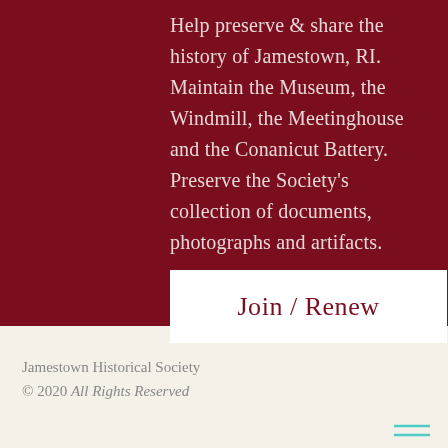Help preserve & share the history of Jamestown, RI. Maintain the Museum, the Windmill, the Meetinghouse and the Conanicut Battery. Preserve the Society's collection of documents, photographs and artifacts.
Join / Renew
Jamestown Historical Society
© 2020 All Rights Reserved